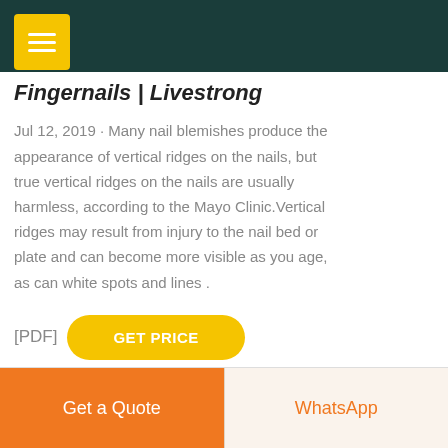Fingernails | Livestrong
Jul 12, 2019 · Many nail blemishes produce the appearance of vertical ridges on the nails, but true vertical ridges on the nails are usually harmless, according to the Mayo Clinic.Vertical ridges may result from injury to the nail bed or plate and can become more visible as you age, as can white spots and lines .
[PDF] GET PRICE
[Figure (illustration): Female customer service representative figure with Free chat button widget]
Get a Quote
WhatsApp